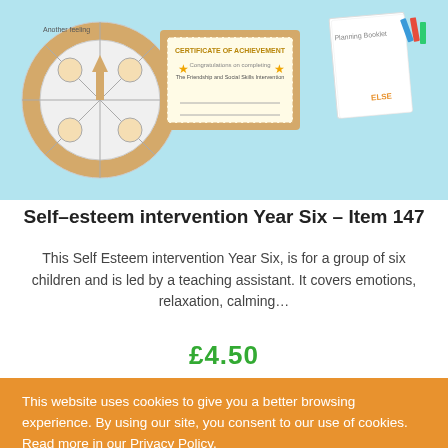[Figure (illustration): Product image showing educational materials including a feelings wheel, a Certificate of Achievement for 'The Friendship and Social Skills Intervention', and a Planning Booklet, on a light blue background.]
Self–esteem intervention Year Six – Item 147
This Self Esteem intervention Year Six, is for a group of six children and is led by a teaching assistant. It covers emotions, relaxation, calming…
£4.50
This website uses cookies to give you a better browsing experience. By using our site, you consent to our use of cookies. Read more in our Privacy Policy.
Accept & Continue